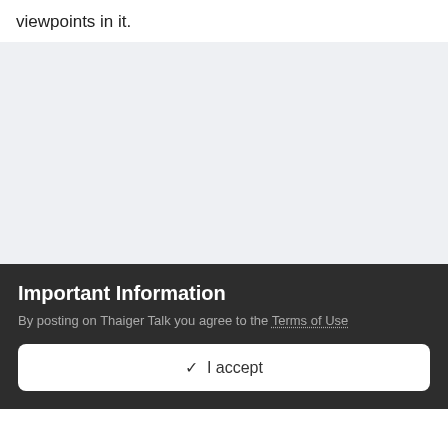viewpoints in it.
[Figure (other): Gray background placeholder/ad area]
Important Information
By posting on Thaiger Talk you agree to the Terms of Use
✓  I accept